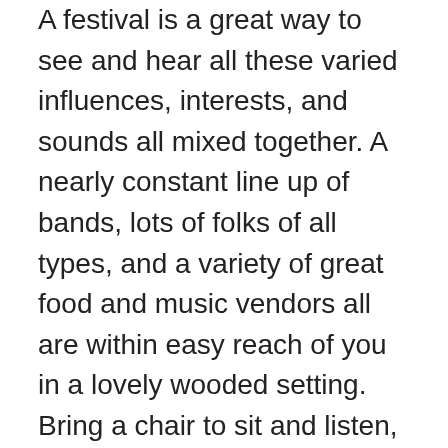A festival is a great way to see and hear all these varied influences, interests, and sounds all mixed together. A nearly constant line up of bands, lots of folks of all types, and a variety of great food and music vendors all are within easy reach of you in a lovely wooded setting. Bring a chair to sit and listen, walk the lakeside trails, and visit with the performers between their performances. Come for an afternoon, or stay for a week.
Nearly 30 different bands will perform throughout the week. You have a wonderful opportunity to see first generation bands like Ralph Stanley and Melvin Goins; great traditional bands like Karl Shifflet, Larry Sparks, Doyle Lawson, J.D. Crowe, Jim and Jesse, and Jimmy